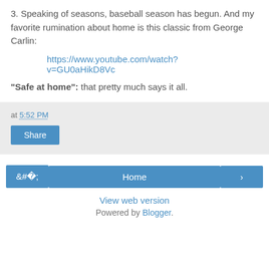3. Speaking of seasons, baseball season has begun. And my favorite rumination about home is this classic from George Carlin:
https://www.youtube.com/watch?v=GU0aHikD8Vc
"Safe at home": that pretty much says it all.
at 5:52 PM
Share
Home
View web version
Powered by Blogger.